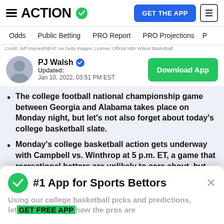ACTION - GET THE APP
Odds | Public Betting | PRO Report | PRO Projections
Credit: Jeff Haynes/NBAE via Getty Images. License: Official NBA Wilson Basketball.
PJ Walsh - Updated: Jan 10, 2022, 03:51 PM EST
The college football national championship game between Georgia and Alabama takes place on Monday night, but let's not also forget about today's college basketball slate.
Monday's college basketball action gets underway with Campbell vs. Winthrop at 5 p.m. ET, a game that recreational bettors are unlikely to care about, but one that sharps are already in the betting.
Using our college basketball picks and predictions, let's look at how the pros are
#1 App for Sports Bettors - GET FREE APP